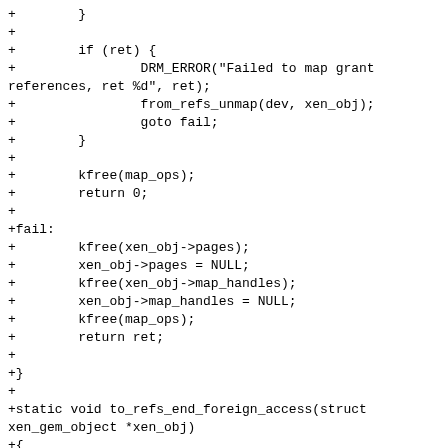+        }
+
+        if (ret) {
+                DRM_ERROR("Failed to map grant references, ret %d", ret);
+                from_refs_unmap(dev, xen_obj);
+                goto fail;
+        }
+
+        kfree(map_ops);
+        return 0;
+
+fail:
+        kfree(xen_obj->pages);
+        xen_obj->pages = NULL;
+        kfree(xen_obj->map_handles);
+        xen_obj->map_handles = NULL;
+        kfree(map_ops);
+        return ret;
+
+}
+
+static void to_refs_end_foreign_access(struct xen_gem_object *xen_obj)
+{
+        int i;
+
+        if (xen_obj->grefs)
+                for (i = 0; i < xen_obj->num_pages; i++)